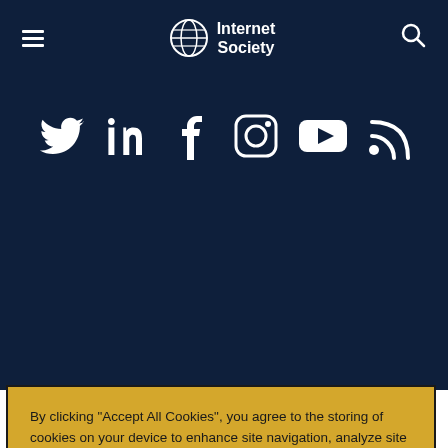Internet Society
[Figure (infographic): Social media icons row: Twitter, LinkedIn, Facebook, Instagram, YouTube, RSS — white icons on dark navy background]
By clicking “Accept All Cookies”, you agree to the storing of cookies on your device to enhance site navigation, analyze site usage, and assist in our marketing efforts.
Cookies Settings
Reject Optional Cookies
Accept All Cookies